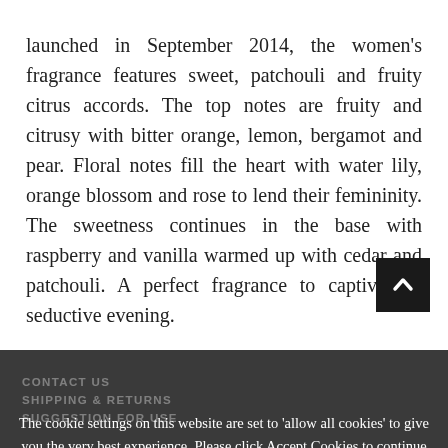launched in September 2014, the women's fragrance features sweet, patchouli and fruity citrus accords. The top notes are fruity and citrusy with bitter orange, lemon, bergamot and pear. Floral notes fill the heart with water lily, orange blossom and rose to lend their femininity. The sweetness continues in the base with raspberry and vanilla warmed up with cedar and patchouli. A perfect fragrance to captivate a seductive evening.
The cookie settings on this website are set to 'allow all cookies' to give you the very best experience. Please click Accept Cookies to continue to use the site.
PRIVACY POLICY   I AGREE ✔
SHIPPING & RETURNS
SUGGESTION FOR USE
100ml - Dhs. 13...   ADD TO CART